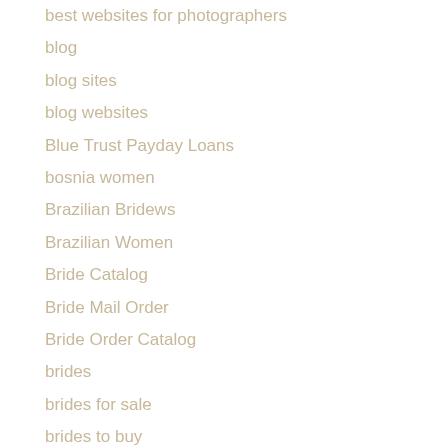best websites for photographers
blog
blog sites
blog websites
Blue Trust Payday Loans
bosnia women
Brazilian Bridews
Brazilian Women
Bride Catalog
Bride Mail Order
Bride Order Catalog
brides
brides for sale
brides to buy
British Women Dating